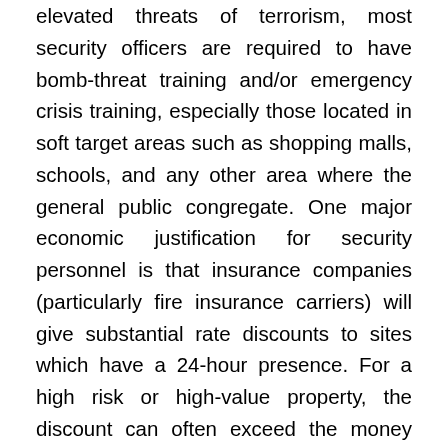elevated threats of terrorism, most security officers are required to have bomb-threat training and/or emergency crisis training, especially those located in soft target areas such as shopping malls, schools, and any other area where the general public congregate. One major economic justification for security personnel is that insurance companies (particularly fire insurance carriers) will give substantial rate discounts to sites which have a 24-hour presence. For a high risk or high-value property, the discount can often exceed the money being spent on its security program. Discounts are offered because having security on site increases the odds that any fire will be noticed and reported to the local fire department before a total loss occurs. Also, the presence of security officers (particularly in combination with effective security procedures) tends to diminish "shrinkage", theft, employee misconduct, and safety rule violations, property damage, or even sabotage. Many casinos hire security officers to